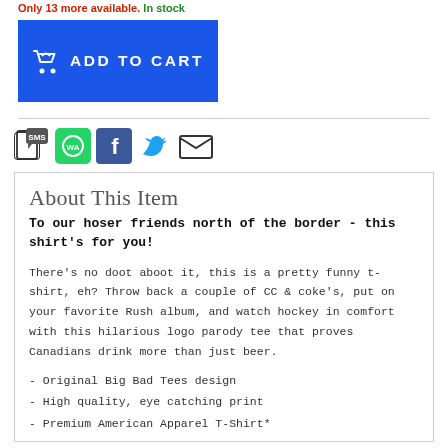Only 13 more available. In stock
[Figure (other): Blue 'Add to Cart' button with shopping basket icon]
[Figure (other): Social share icons: SMS, WhatsApp, Facebook, Twitter, Email]
About This Item
To our hoser friends north of the border - this shirt's for you!
There's no doot aboot it, this is a pretty funny t-shirt, eh? Throw back a couple of CC & coke's, put on your favorite Rush album, and watch hockey in comfort with this hilarious logo parody tee that proves Canadians drink more than just beer.
- Original Big Bad Tees design
- High quality, eye catching print
- Premium American Apparel T-Shirt*